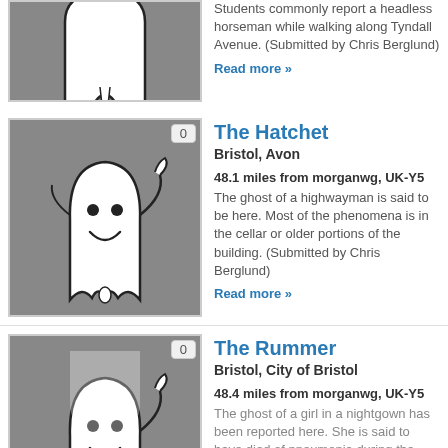[Figure (illustration): Ghost icon on grey background, top of page, cropped]
Students commonly report a headless horseman while walking along Tyndall Avenue. (Submitted by Chris Berglund)
Read more »
[Figure (illustration): Ghost icon on grey background with badge showing 0]
The Hatchet
Bristol, Avon
48.1 miles from morganwg, UK-Y5
The ghost of a highwayman is said to be here. Most of the phenomena is in the cellar or older portions of the building. (Submitted by Chris Berglund)
Read more »
[Figure (illustration): Ghost icon on grey background with badge showing 0, partially visible]
The Rummer
Bristol, City of Bristol
48.4 miles from morganwg, UK-Y5
The ghost of a girl in a nightgown has been reported here. She is said to have died of pneumonia during the Elizabethan era.